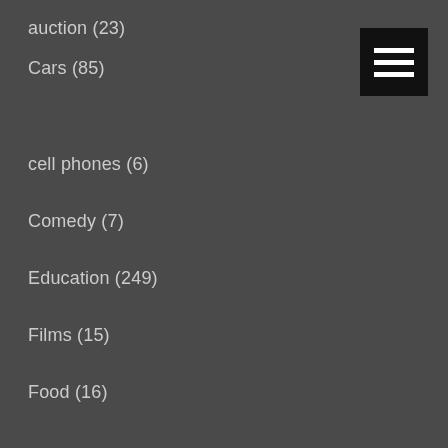auction (23)
Cars (85)
cell phones (6)
Comedy (7)
Education (249)
Films (15)
Food (16)
Gallery (25)
good profit with little down side (6)
HD (8)